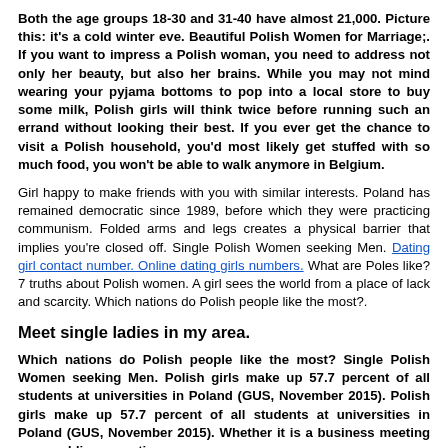Both the age groups 18-30 and 31-40 have almost 21,000. Picture this: it's a cold winter eve. Beautiful Polish Women for Marriage;. If you want to impress a Polish woman, you need to address not only her beauty, but also her brains. While you may not mind wearing your pyjama bottoms to pop into a local store to buy some milk, Polish girls will think twice before running such an errand without looking their best. If you ever get the chance to visit a Polish household, you'd most likely get stuffed with so much food, you won't be able to walk anymore in Belgium.
Girl happy to make friends with you with similar interests. Poland has remained democratic since 1989, before which they were practicing communism. Folded arms and legs creates a physical barrier that implies you're closed off. Single Polish Women seeking Men. Dating girl contact number. Online dating girls numbers. What are Poles like? 7 truths about Polish women. A girl sees the world from a place of lack and scarcity. Which nations do Polish people like the most?.
Meet single ladies in my area.
Which nations do Polish people like the most? Single Polish Women seeking Men. Polish girls make up 57.7 percent of all students at universities in Poland (GUS, November 2015). Polish girls make up 57.7 percent of all students at universities in Poland (GUS, November 2015). Whether it is a business meeting or a wedding reception,